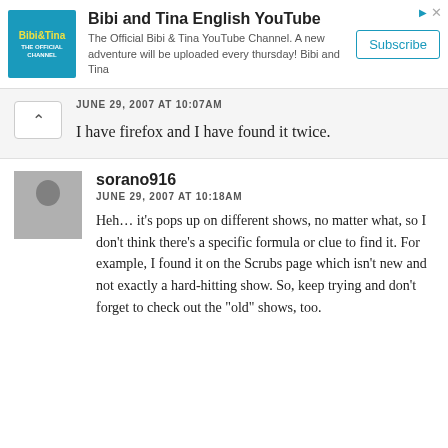[Figure (screenshot): YouTube channel advertisement banner for 'Bibi and Tina English YouTube'. Shows a teal/blue logo on the left, channel title in bold, description text, and a Subscribe button on the right.]
JUNE 29, 2007 AT 10:07AM
I have firefox and I have found it twice.
sorano916
JUNE 29, 2007 AT 10:18AM
Heh… it's pops up on different shows, no matter what, so I don't think there's a specific formula or clue to find it. For example, I found it on the Scrubs page which isn't new and not exactly a hard-hitting show. So, keep trying and don't forget to check out the "old" shows, too.